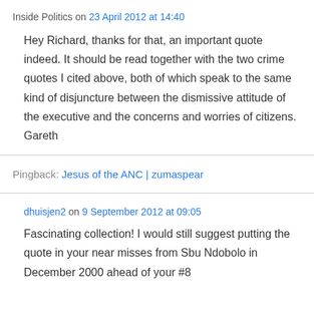Inside Politics on 23 April 2012 at 14:40
Hey Richard, thanks for that, an important quote indeed. It should be read together with the two crime quotes I cited above, both of which speak to the same kind of disjuncture between the dismissive attitude of the executive and the concerns and worries of citizens. Gareth
Pingback: Jesus of the ANC | zumaspear
dhuisjen2 on 9 September 2012 at 09:05
Fascinating collection! I would still suggest putting the quote in your near misses from Sbu Ndobolo in December 2000 ahead of your #8